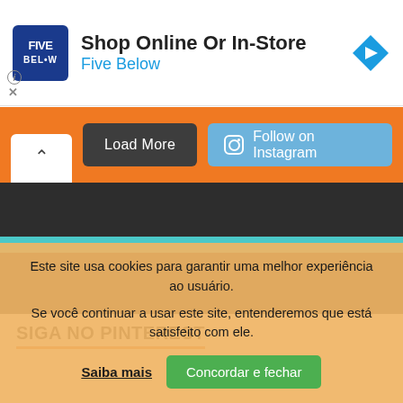[Figure (screenshot): Five Below advertisement banner with blue logo, shop online or in-store text, blue subtitle, and blue diamond arrow icon]
[Figure (screenshot): Orange section with up-arrow tab, Load More dark button, and Follow on Instagram blue button]
[Figure (screenshot): Dark gray bar, teal stripe, and second dark gray bar forming footer navigation area]
SIGA NO PINTEREST
Este site usa cookies para garantir uma melhor experiência ao usuário.
Se você continuar a usar este site, entenderemos que está satisfeito com ele.
Saiba mais   Concordar e fechar